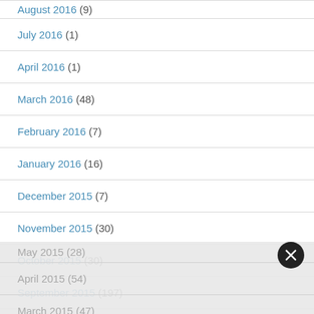August 2016 (9)
July 2016 (1)
April 2016 (1)
March 2016 (48)
February 2016 (7)
January 2016 (16)
December 2015 (7)
November 2015 (30)
October 2015 (30)
September 2015 (197)
August 2015 (2)
July 2015 (13)
May 2015 (28)
April 2015 (54)
March 2015 (47)